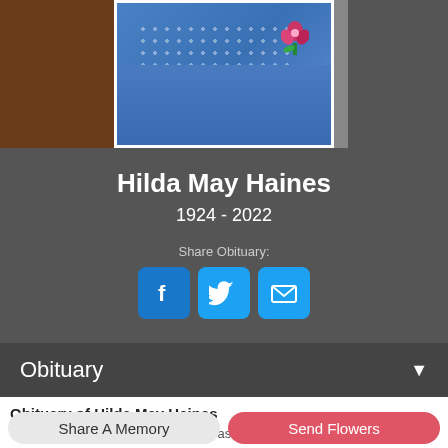[Figure (photo): Portrait photo of Hilda May Haines in a blue patterned top and blue cardigan with a floral corsage, cropped at shoulders]
Hilda May Haines
1924 - 2022
Share Obituary:
Obituary
Obituary of Hilda May Haines
With sad hearts, we announce the passing of our mother Hilda...
Share A Memory
Send Flowers